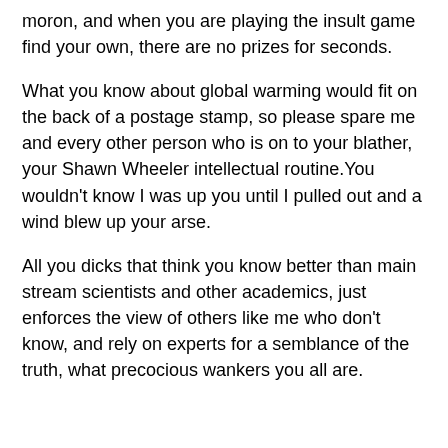moron, and when you are playing the insult game find your own, there are no prizes for seconds.
What you know about global warming would fit on the back of a postage stamp, so please spare me and every other person who is on to your blather, your Shawn Wheeler intellectual routine.You wouldn't know I was up you until I pulled out and a wind blew up your arse.
All you dicks that think you know better than main stream scientists and other academics, just enforces the view of others like me who don't know, and rely on experts for a semblance of the truth, what precocious wankers you all are.